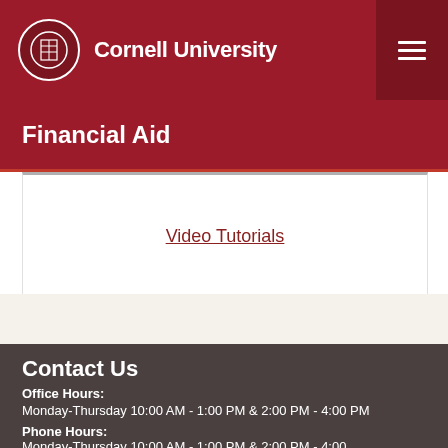Cornell University
Financial Aid
Video Tutorials
Contact Us
Office Hours:
Monday-Thursday 10:00 AM - 1:00 PM & 2:00 PM - 4:00 PM
Phone Hours:
Monday-Thursday 10:00 AM - 1:00 PM & 2:00 PM - 4:00